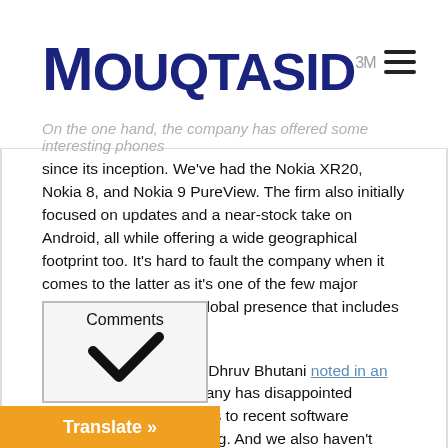MOUQTASID
On the one hand, the company has offered some interesting phones since its inception. We've had the Nokia XR20, Nokia 8, and Nokia 9 PureView. The firm also initially focused on updates and a near-stock take on Android, all while offering a wide geographical footprint too. It's hard to fault the company when it comes to the latter as it's one of the few major brands with an almost-global presence that includes North America.
Then again, as our own Dhruv Bhutani noted in an opinion piece, the company has disappointed consumers when it comes to recent software updates and device pricing. And we also haven't seen any legitimate flagship Nokia phones in several years.
So what do you think? Should HMD address updates, pricing, design/build quality, the lack of flagships, or something else altogether? Choose your option in the poll above.
[Figure (other): Comments button with checkmark icon]
[Figure (other): Translate button (orange bar)]